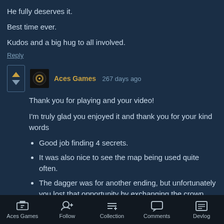He fully deserves it.
Best time ever.
Kudos and a big hug to all involved.
Reply
Aces Games  267 days ago
Thank you for playing and your video!
I'm truly glad you enjoyed it and thank you for your kind words
Good job finding 4 secrets.
It was also nice to see the map being used quite often.
The dagger was for another ending, but unfortunately you lost that opportunity by exchanging the crown.
Aces Games  Follow  Collection  Comments  Devlog